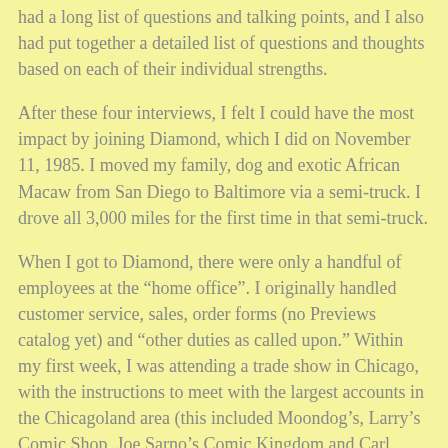had a long list of questions and talking points, and I also had put together a detailed list of questions and thoughts based on each of their individual strengths.
After these four interviews, I felt I could have the most impact by joining Diamond, which I did on November 11, 1985. I moved my family, dog and exotic African Macaw from San Diego to Baltimore via a semi-truck. I drove all 3,000 miles for the first time in that semi-truck.
When I got to Diamond, there were only a handful of employees at the “home office”. I originally handled customer service, sales, order forms (no Previews catalog yet) and “other duties as called upon.” Within my first week, I was attending a trade show in Chicago, with the instructions to meet with the largest accounts in the Chicagoland area (this included Moondog’s, Larry’s Comic Shop, Joe Sarno’s Comic Kingdom and Carl Bonasera’s Amazing Fantasy Comics.